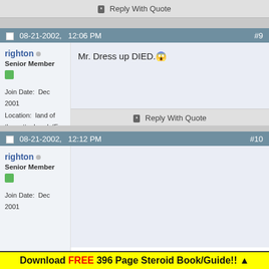Reply With Quote
08-21-2002,   12:06 PM  #9
righton
Senior Member
Join Date: Dec 2001
Location: land of the cottonheads(F
Posts: 1,171
Mr. Dress up DIED.
Reply With Quote
08-21-2002,   12:12 PM  #10
righton
Senior Member
Join Date: Dec 2001
Download FREE 396 Page Steroid Book/Guide!! ▲